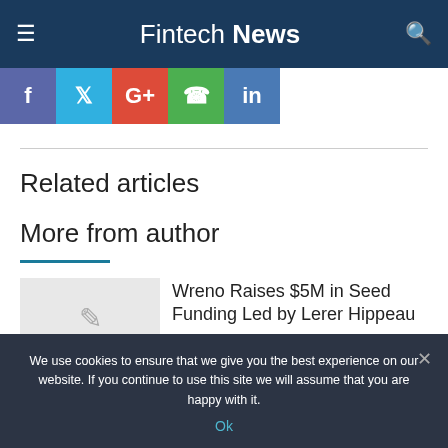Fintech News
[Figure (infographic): Social sharing buttons: Facebook (f), Twitter (bird), Google+, WhatsApp, LinkedIn]
Related articles
More from author
Wreno Raises $5M in Seed Funding Led by Lerer Hippeau
Fintech Companies
We use cookies to ensure that we give you the best experience on our website. If you continue to use this site we will assume that you are happy with it.
Ok